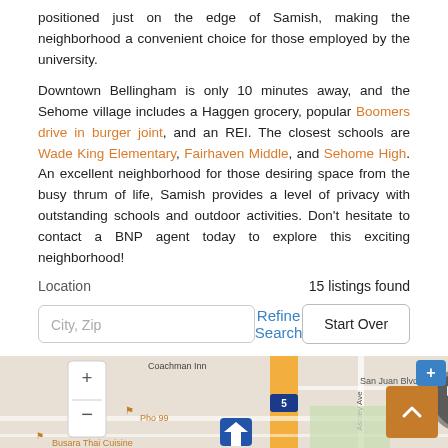positioned just on the edge of Samish, making the neighborhood a convenient choice for those employed by the university.
Downtown Bellingham is only 10 minutes away, and the Sehome village includes a Haggen grocery, popular Boomers drive in burger joint, and an REI. The closest schools are Wade King Elementary, Fairhaven Middle, and Sehome High. An excellent neighborhood for those desiring space from the busy thrum of life, Samish provides a level of privacy with outstanding schools and outdoor activities. Don't hesitate to contact a BNP agent today to explore this exciting neighborhood!
Location                                                    15 listings found
City, Zip | Refine Search | Start Over
[Figure (map): Street map showing area around Samish neighborhood in Bellingham, WA with markers for listings. Shows Coachman Inn, Ashley Ave, Pho 99, San Juan Blvd, Busara Thai Cuisine, and map navigation controls (+/-).]